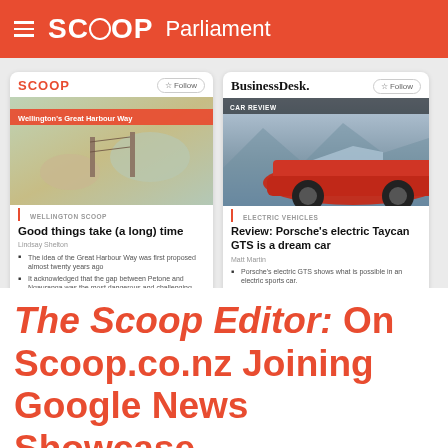SCOOP Parliament
[Figure (screenshot): Two Google News Showcase cards side by side. Left card: SCOOP logo with 'Wellington's Great Harbour Way' article 'Good things take (a long) time' by Lindsay Shelton. Right card: BusinessDesk logo with CAR REVIEW article 'Review: Porsche's electric Taycan GTS is a dream car' by Matt Martin.]
The Scoop Editor: On Scoop.co.nz Joining Google News Showcase